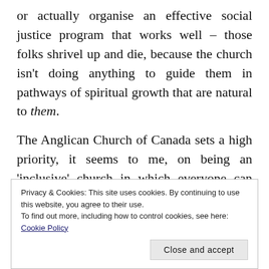or actually organise an effective social justice program that works well – those folks shrivel up and die, because the church isn't doing anything to guide them in pathways of spiritual growth that are natural to them.

The Anglican Church of Canada sets a high priority, it seems to me, on being an 'inclusive' church in which everyone can feel welcome and no-one should be left out or marginalised. And yet it seems very clear to me that it is INFP spirituality that tends to be given pride of
Privacy & Cookies: This site uses cookies. By continuing to use this website, you agree to their use.
To find out more, including how to control cookies, see here: Cookie Policy
[Figure (photo): Bottom strip showing green foliage or plant imagery]